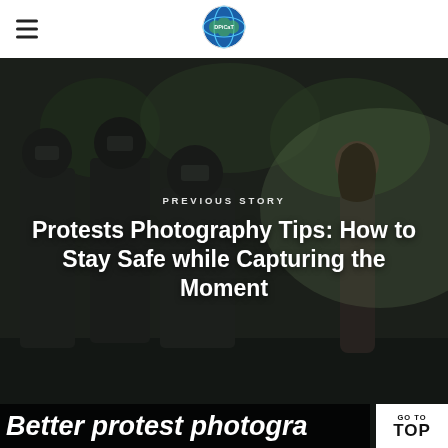[Figure (logo): Circular logo with globe/world map icon, colored in blue, green and yellow, with text 'DPiCaT' in center]
[Figure (photo): Protest scene showing riot police in helmets and gear facing a woman in a dress standing calmly, with trees and vehicles in background, dark moody tone]
PREVIOUS STORY
Protests Photography Tips: How to Stay Safe while Capturing the Moment
Better protest photogra...
GO TO TOP